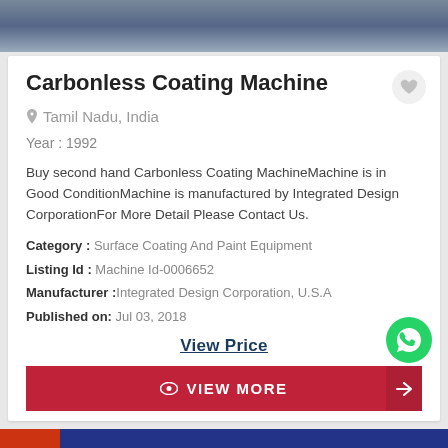[Figure (photo): Top portion showing people and machinery in a factory/industrial setting]
Carbonless Coating Machine
Tamil Nadu, India
Year : 1992
Buy second hand Carbonless Coating MachineMachine is in Good ConditionMachine is manufactured by Integrated Design CorporationFor More Detail Please Contact Us.
Category : Surface Coating And Paint Equipment
Listing Id : Machine Id-0006652
Manufacturer :Integrated Design Corporation, U.S.A
Published on:  Jul 03, 2018
View Price
VIEW MORE
[Figure (photo): Bottom portion showing industrial machinery]